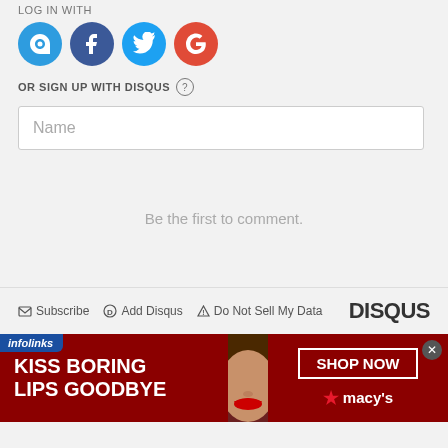LOG IN WITH
[Figure (logo): Four social login icons: Disqus (blue D), Facebook (dark blue F), Twitter (light blue bird), Google (red G)]
OR SIGN UP WITH DISQUS ?
Name
Be the first to comment.
Subscribe  Add Disqus  Do Not Sell My Data  DISQUS
[Figure (infographic): Advertisement banner: infolinks label, dark red background with 'KISS BORING LIPS GOODBYE' text, face with red lips photo, and 'SHOP NOW' button with Macy's star logo]